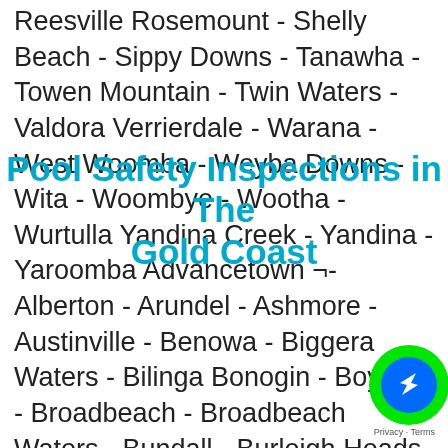Reesville Rosemount - Shelly Beach - Sippy Downs - Tanawha - Towen Mountain - Twin Waters - Valdora Verrierdale - Warana - West Woomba - Weyba Downs - Wita - Woombye - Wootha - Wurtulla Yandina Creek - Yandina - Yaroomba Advancetown ¬- Alberton - Arundel - Ashmore - Austinville - Benowa - Biggera Waters - Bilinga Bonogin - Boyland - Broadbeach - Broadbeach Waters - Bundall - Burleigh Heads - Burleigh Waters - Carrara - Cedar Creek - Clagiraba - Clear Island
Pool Safety Inspections in The Gold Coast